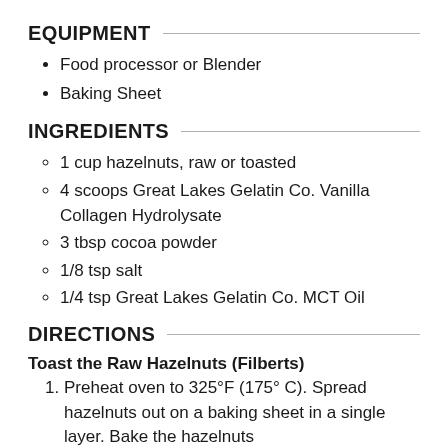EQUIPMENT
Food processor or Blender
Baking Sheet
INGREDIENTS
1 cup hazelnuts, raw or toasted
4 scoops Great Lakes Gelatin Co. Vanilla Collagen Hydrolysate
3 tbsp cocoa powder
1/8 tsp salt
1/4 tsp Great Lakes Gelatin Co. MCT Oil
DIRECTIONS
Toast the Raw Hazelnuts (Filberts)
Preheat oven to 325°F (175° C). Spread hazelnuts out on a baking sheet in a single layer. Bake the hazelnuts